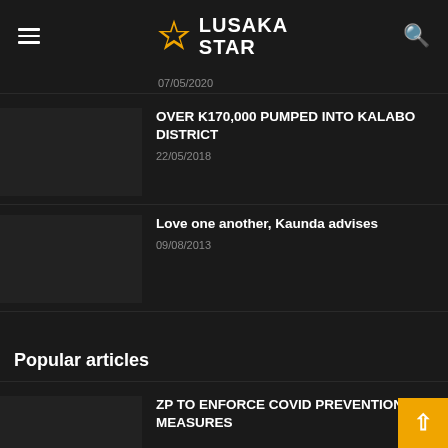Lusaka Star
07/05/2020
OVER K170,000 PUMPED INTO KALABO DISTRICT
22/05/2018
Love one another, Kaunda advises
09/08/2013
Popular articles
ZP TO ENFORCE COVID PREVENTION MEASURES